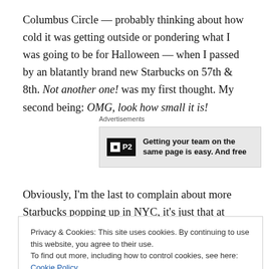Columbus Circle — probably thinking about how cold it was getting outside or pondering what I was going to be for Halloween — when I passed by an blatantly brand new Starbucks on 57th & 8th. Not another one! was my first thought. My second being: OMG, look how small it is!
[Figure (other): Advertisement banner for P2 product with text 'Getting your team on the same page is easy. And free']
Obviously, I'm the last to complain about more Starbucks popping up in NYC, it's just that at times it feels like I'll
Privacy & Cookies: This site uses cookies. By continuing to use this website, you agree to their use. To find out more, including how to control cookies, see here: Cookie Policy
The reason my second thought was on the size of this